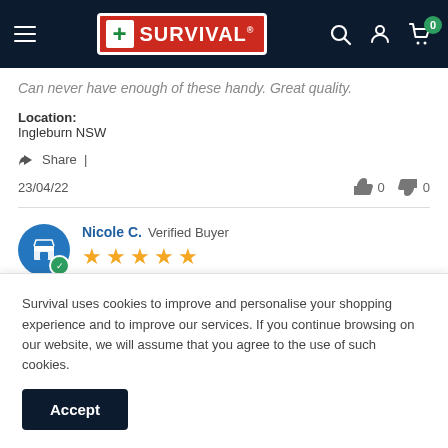Survival — navigation header with logo, search, account, and cart icons
Can never have enough of these handy. Great quality.
Location: Ingleburn NSW
Share |
23/04/22  👍 0  👎 0
Nicole C. Verified Buyer ★★★★★
Survival uses cookies to improve and personalise your shopping experience and to improve our services. If you continue browsing on our website, we will assume that you agree to the use of such cookies.